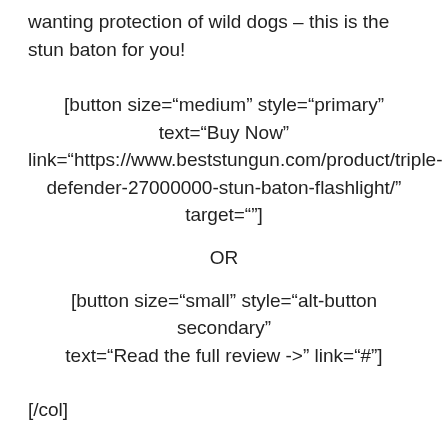wanting protection of wild dogs – this is the stun baton for you!
[button size="medium" style="primary" text="Buy Now" link="https://www.beststungun.com/product/triple-defender-27000000-stun-baton-flashlight/" target=""]
OR
[button size="small" style="alt-button secondary" text="Read the full review ->" link="#"]
[/col]